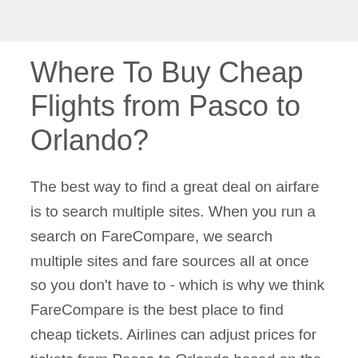Where To Buy Cheap Flights from Pasco to Orlando?
The best way to find a great deal on airfare is to search multiple sites. When you run a search on FareCompare, we search multiple sites and fare sources all at once so you don't have to - which is why we think FareCompare is the best place to find cheap tickets. Airlines can adjust prices for tickets from Pasco to Orlando based on the day and time that you decide to book your flight. We have collected data from all